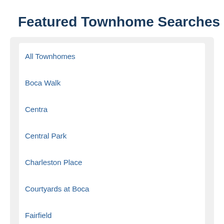Featured Townhome Searches
All Townhomes
Boca Walk
Centra
Central Park
Charleston Place
Courtyards at Boca
Fairfield
Library Commons